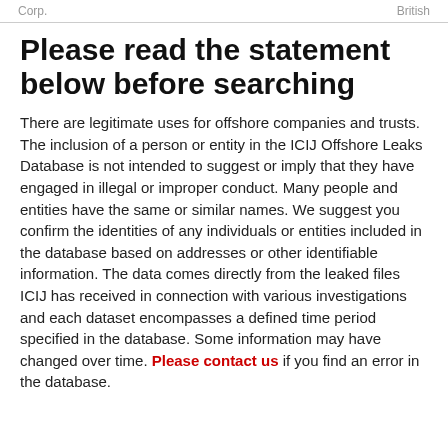Corp.   British
Please read the statement below before searching
There are legitimate uses for offshore companies and trusts. The inclusion of a person or entity in the ICIJ Offshore Leaks Database is not intended to suggest or imply that they have engaged in illegal or improper conduct. Many people and entities have the same or similar names. We suggest you confirm the identities of any individuals or entities included in the database based on addresses or other identifiable information. The data comes directly from the leaked files ICIJ has received in connection with various investigations and each dataset encompasses a defined time period specified in the database. Some information may have changed over time. Please contact us if you find an error in the database.